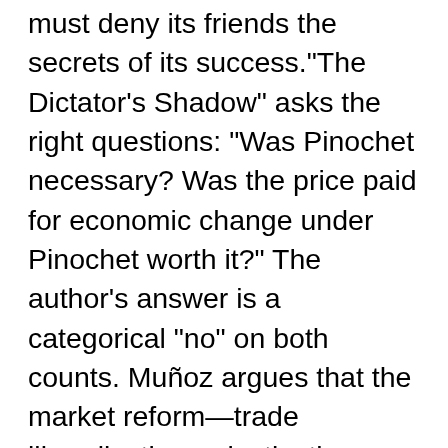must deny its friends the secrets of its success."The Dictator's Shadow" asks the right questions: "Was Pinochet necessary? Was the price paid for economic change under Pinochet worth it?" The author's answer is a categorical "no" on both counts. Muñoz argues that the market reform—trade liberalization, privatizations, deregulation, pension reforms—to which Chile seems to owe its triumphs could have been implemented without repression, murder and torture, and that other countries in the region have done just that. I am a bit less convinced about the first "no" than the author of this splendid account of the past 35 years.